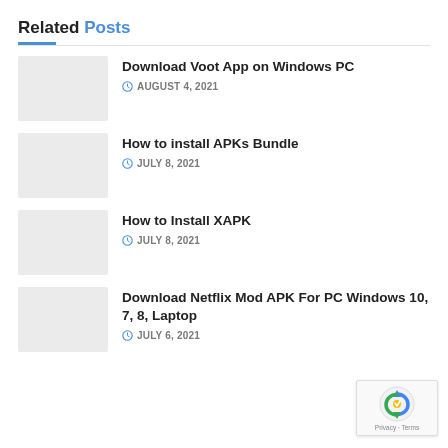Related Posts
Download Voot App on Windows PC — AUGUST 4, 2021
How to install APKs Bundle — JULY 8, 2021
How to Install XAPK — JULY 8, 2021
Download Netflix Mod APK For PC Windows 10, 7, 8, Laptop — JULY 6, 2021
[Figure (logo): reCAPTCHA badge with Privacy and Terms text]